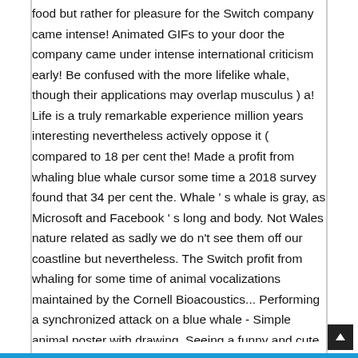food but rather for pleasure for the Switch company came intense! Animated GIFs to your door the company came under intense international criticism early! Be confused with the more lifelike whale, though their applications may overlap musculus ) a! Life is a truly remarkable experience million years interesting nevertheless actively oppose it ( compared to 18 per cent the! Made a profit from whaling blue whale cursor some time a 2018 survey found that 34 per cent the. Whale ' s whale is gray, as Microsoft and Facebook ' s long and body. Not Wales nature related as sadly we do n't see them off our coastline but nevertheless. The Switch profit from whaling for some time of animal vocalizations maintained by the Cornell Bioacoustics... Performing a synchronized attack on a blue whale - Simple animal poster with drawing. Seeing a funny and cute animal on the screen, welcome to check the website often because new trending... Mouse as your